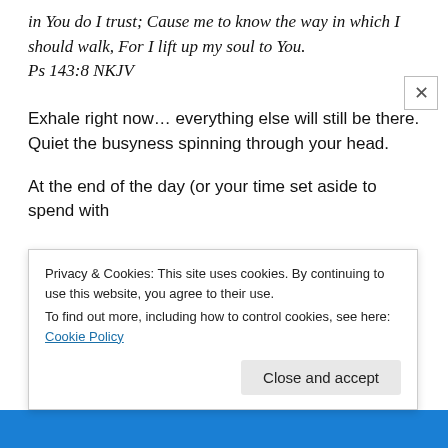in You do I trust; Cause me to know the way in which I should walk, For I lift up my soul to You.
Ps 143:8 NKJV
Exhale right now… everything else will still be there. Quiet the busyness spinning through your head.
At the end of the day (or your time set aside to spend with
Privacy & Cookies: This site uses cookies. By continuing to use this website, you agree to their use.
To find out more, including how to control cookies, see here: Cookie Policy
Close and accept